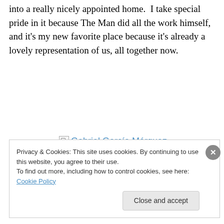into a really nicely appointed home.  I take special pride in it because The Man did all the work himself, and it’s my new favorite place because it’s already a lovely representation of us, all together now.
[Figure (other): Broken image placeholder link reading 'Gabriel García Márquez, De biografie']
Privacy & Cookies: This site uses cookies. By continuing to use this website, you agree to their use.
To find out more, including how to control cookies, see here: Cookie Policy
Close and accept